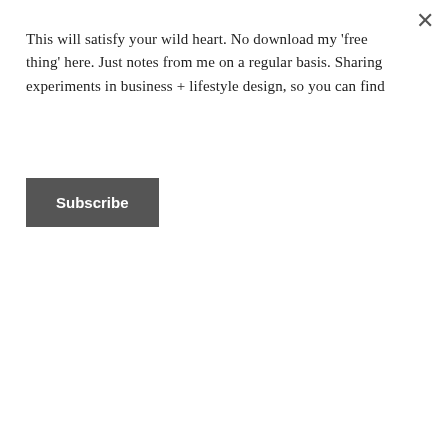This will satisfy your wild heart. No download my 'free thing' here. Just notes from me on a regular basis. Sharing experiments in business + lifestyle design, so you can find
Subscribe
can leave us feeling burned out and disconnected because, great and creative though they might be, they simply were never our true purpose in the first place.
Your purpose is that thing you have always known, always done, always dreamed of and breathed for. I've known since childhood I was supposed to write and now I do. But not nearly enough. And so I disconnect, convince myself to seek the calm and switch off and kid myself that's where I'll find my joy.